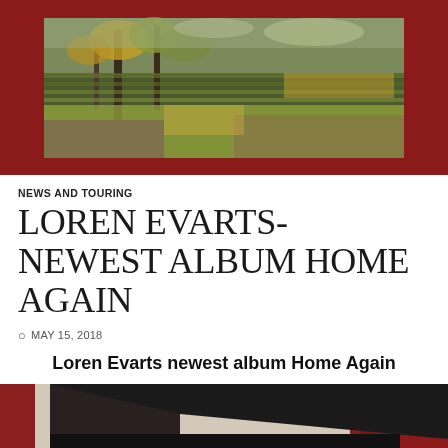[Figure (photo): Impressionist-style painting of a landscape with trees and colorful foliage displayed against a red background]
NEWS AND TOURING
LOREN EVARTS- NEWEST ALBUM HOME AGAIN
MAY 15, 2018
Loren Evarts newest album Home Again
[Figure (photo): Photo of Loren Evarts sitting at a piano, wearing a grey flat cap, with red curtains and wall sconce in background]